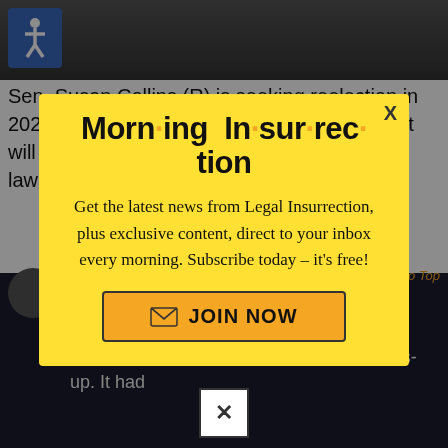[Figure (photo): Dark photo of a person, partially visible at top of page]
Sen. Susan Collins (R) is seeking reelection in 2020, but there are some growing signs that it will not be an easy bid for the centrist Maine lawmaker. Collins'
[Figure (screenshot): Modal popup newsletter signup for Morning Insurrection with yellow background]
Morn·ing In·sur·rec·tion
Get the latest news from Legal Insurrection, plus exclusive content, direct to your inbox every morning. Subscribe today – it's free!
JOIN NOW
@SteveCollinsSJ · Follow
Back to Top
Oh my. Cook Political Report just changed @SenatorCollins reelection race to a toss-up. It had